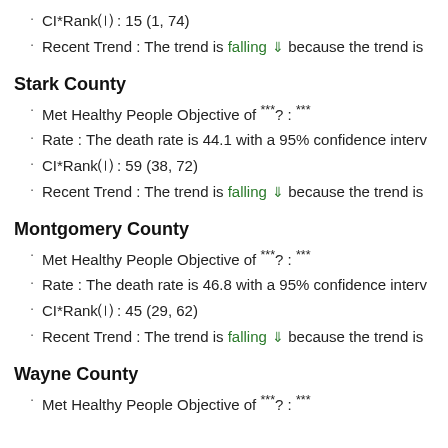CI*Rankⓗ : 15 (1, 74)
Recent Trend : The trend is falling ↓ because the trend is
Stark County
Met Healthy People Objective of ***? : ***
Rate : The death rate is 44.1 with a 95% confidence interv
CI*Rankⓗ : 59 (38, 72)
Recent Trend : The trend is falling ↓ because the trend is
Montgomery County
Met Healthy People Objective of ***? : ***
Rate : The death rate is 46.8 with a 95% confidence interv
CI*Rankⓗ : 45 (29, 62)
Recent Trend : The trend is falling ↓ because the trend is
Wayne County
Met Healthy People Objective of ***? : ***